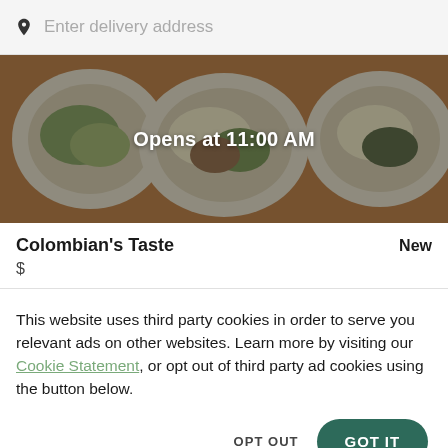Enter delivery address
[Figure (photo): Food delivery app hero image showing Colombian dishes with a dark overlay and text 'Opens at 11:00 AM']
Colombian's Taste
New
$
This website uses third party cookies in order to serve you relevant ads on other websites. Learn more by visiting our Cookie Statement, or opt out of third party ad cookies using the button below.
OPT OUT
GOT IT